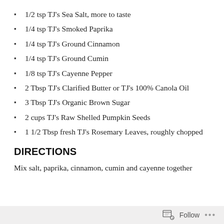1/2 tsp TJ's Sea Salt, more to taste
1/4 tsp TJ's Smoked Paprika
1/4 tsp TJ's Ground Cinnamon
1/4 tsp TJ's Ground Cumin
1/8 tsp TJ's Cayenne Pepper
2 Tbsp TJ's Clarified Butter or TJ's 100% Canola Oil
3 Tbsp TJ's Organic Brown Sugar
2 cups TJ's Raw Shelled Pumpkin Seeds
1 1/2 Tbsp fresh TJ's Rosemary Leaves, roughly chopped
DIRECTIONS
Mix salt, paprika, cinnamon, cumin and cayenne together
Follow